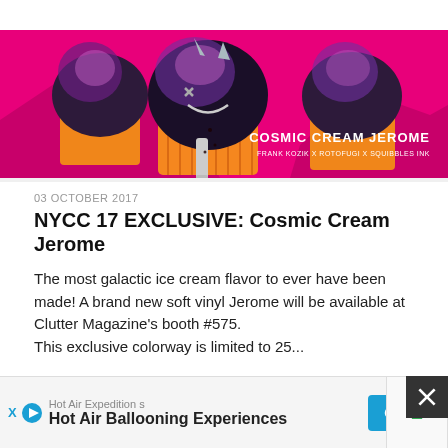[Figure (photo): Cosmic Cream Jerome figures — dark purple cupcake-shaped vinyl toys with metallic pink and purple colorway, shown with text 'COSMIC CREAM JEROME / FRANK KOZIK X ROTOFUGI X SQUIBBLES INK' on a hot pink background]
03 OCTOBER 2017
NYCC 17 EXCLUSIVE: Cosmic Cream Jerome
The most galactic ice cream flavor to ever have been made! A brand new soft vinyl Jerome will be available at Clutter Magazine's booth #575.
This exclusive colorway is limited to 25...
Read more
Hot Air Expeditions
Hot Air Ballooning Experiences